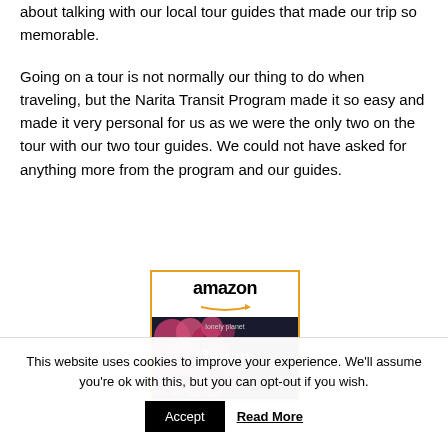about talking with our local tour guides that made our trip so memorable.
Going on a tour is not normally our thing to do when traveling, but the Narita Transit Program made it so easy and made it very personal for us as we were the only two on the tour with our two tour guides. We could not have asked for anything more from the program and our guides.
[Figure (other): Amazon advertisement box with orange border showing the Amazon logo with arrow and a Lonely Planet Japan book cover with pink flowers]
This website uses cookies to improve your experience. We'll assume you're ok with this, but you can opt-out if you wish.
Accept   Read More